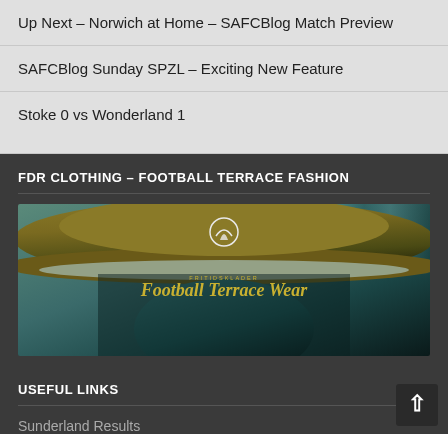Up Next – Norwich at Home – SAFCBlog Match Preview
SAFCBlog Sunday SPZL – Exciting New Feature
Stoke 0 vs Wonderland 1
FDR CLOTHING – FOOTBALL TERRACE FASHION
[Figure (photo): Person wearing a brown bucket hat with 'FRITIDSKLADER Football Terrace Wear' text and logo on it, with a teal/blue background]
USEFUL LINKS
Sunderland Results